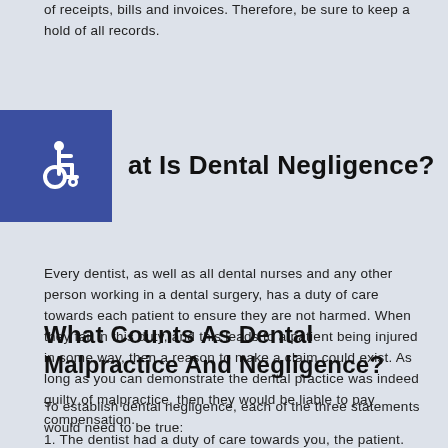of receipts, bills and invoices. Therefore, be sure to keep a hold of all records.
What Is Dental Negligence?
[Figure (illustration): Accessibility icon (wheelchair symbol) in white on dark blue square background]
Every dentist, as well as all dental nurses and any other person working in a dental surgery, has a duty of care towards each patient to ensure they are not harmed. When they fail in this duty, and this leads to a patient being injured in some way, then a reason to make a claim could exist. As long as you can demonstrate the dental practice was indeed guilty of malpractice, then they would be liable to pay compensation.
What Counts As Dental Malpractice And Negligence?
To establish dental negligence, each of the three statements would need to be true:
1. The dentist had a duty of care towards you, the patient.